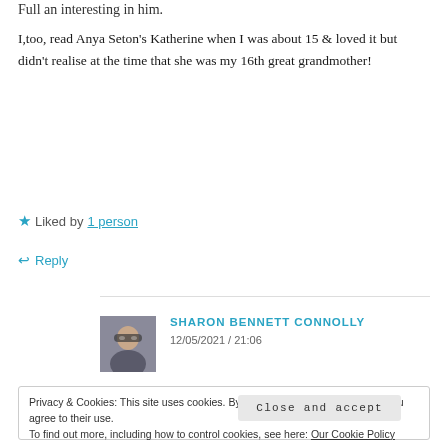I,too, read Anya Seton's Katherine when I was about 15 & loved it but didn't realise at the time that she was my 16th great grandmother!
★ Liked by 1 person
↩ Reply
SHARON BENNETT CONNOLLY
12/05/2021 / 21:06
Privacy & Cookies: This site uses cookies. By continuing to use this website, you agree to their use.
To find out more, including how to control cookies, see here: Our Cookie Policy
Close and accept